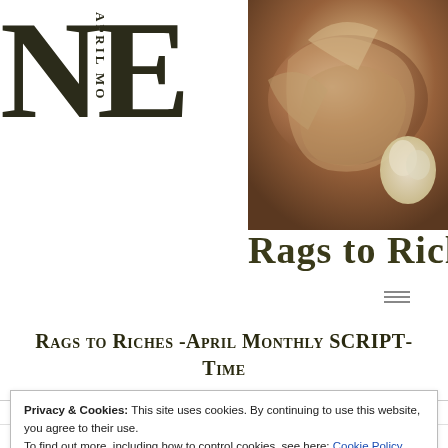NE
APRIL MO
[Figure (photo): Close-up photo of food items, appears to show meat or fish with garlic, in warm brown tones]
Rags to Riches
Rags to Riches -April Monthly SCRIPT-TIME
Privacy & Cookies: This site uses cookies. By continuing to use this website, you agree to their use.
To find out more, including how to control cookies, see here: Cookie Policy
Close and accept
bringing us from rags to riches.  Scripture:....